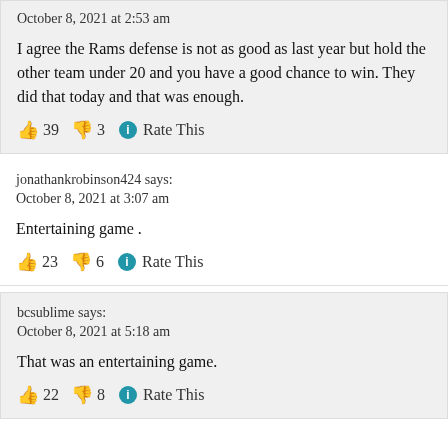October 8, 2021 at 2:53 am
I agree the Rams defense is not as good as last year but hold the other team under 20 and you have a good chance to win. They did that today and that was enough.
👍 39 👎 3 ℹ Rate This
jonathankrobinson424 says:
October 8, 2021 at 3:07 am
Entertaining game .
👍 23 👎 6 ℹ Rate This
bcsublime says:
October 8, 2021 at 5:18 am
That was an entertaining game.
👍 22 👎 8 ℹ Rate This